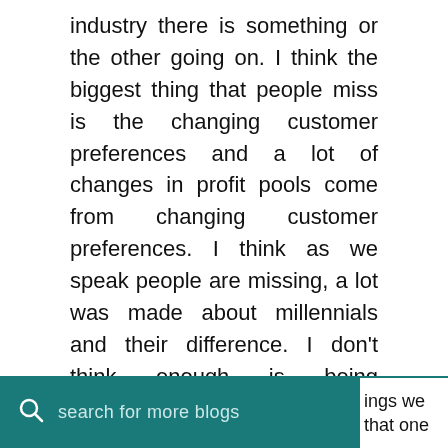industry there is something or the other going on. I think the biggest thing that people miss is the changing customer preferences and a lot of changes in profit pools come from changing customer preferences. I think as we speak people are missing, a lot was made about millennials and their difference. I don't think enough is being discussed and thought about including with us internally on GenZ and video and how are the preferences changing and how the profit pools will change. So I think the key is right to win is the MOT, right to earn is your sustainable MOT but that's the profit pool. I think these two things go really hand in
ings we that one